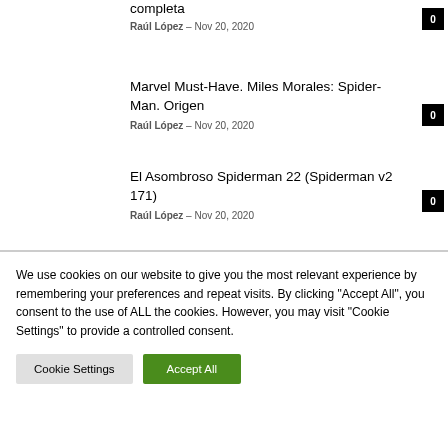completa
Raúl López - Nov 20, 2020  0
Marvel Must-Have. Miles Morales: Spider-Man. Origen
Raúl López - Nov 20, 2020  0
El Asombroso Spiderman 22 (Spiderman v2 171)
Raúl López - Nov 20, 2020  0
We use cookies on our website to give you the most relevant experience by remembering your preferences and repeat visits. By clicking "Accept All", you consent to the use of ALL the cookies. However, you may visit "Cookie Settings" to provide a controlled consent.